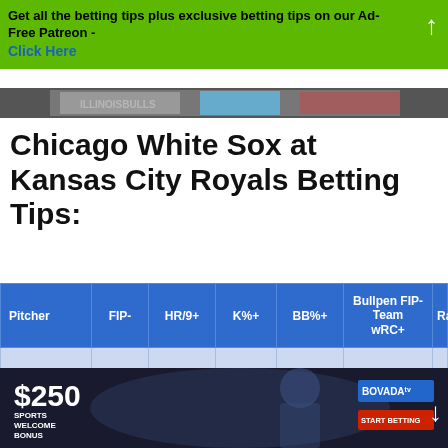Get all the betting tips plus exclusive betting tips on our Ad-Free Patreon - Click Here
[Figure (photo): Sports photo strip banner]
Chicago White Sox at Kansas City Royals Betting Tips:
| Pitcher | FIP- | HR/9+ | K%+ | BB%+ | Bullpen FIP- Team wRC+ | Ran |
| --- | --- | --- | --- | --- | --- | --- |
[Figure (photo): Bovada $250 Sports Welcome Bonus advertisement banner]